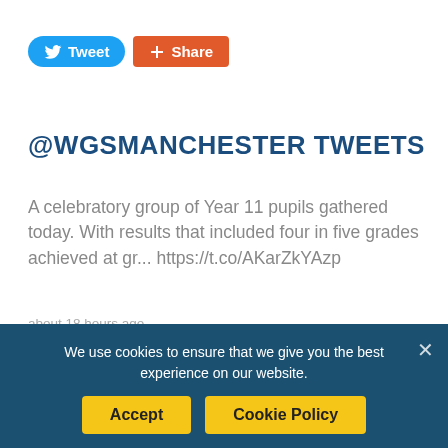[Figure (screenshot): Social media share buttons: Tweet (blue, rounded) and Share (orange, rounded rectangle)]
@WGSMANCHESTER TWEETS
A celebratory group of Year 11 pupils gathered today. With results that included four in five grades achieved at gr... https://t.co/AKarZkYAzp
about 18 hours ago
We held our very first Giving Day to raise money for our Bursary Fund. 156 donors raised over £70,000 to help brigh...
We use cookies to ensure that we give you the best experience on our website.